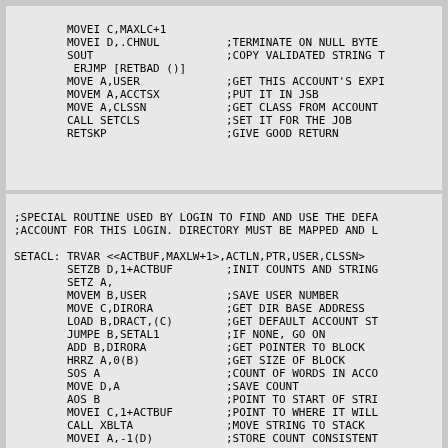[Figure (other): Assembly code block 1: MOVEI C,MAXLC+1 through RETSKP instructions with comments]
[Figure (other): Assembly code block 2: SETACL routine with TRVAR through MOVEI A,-1(D) instructions with comments]